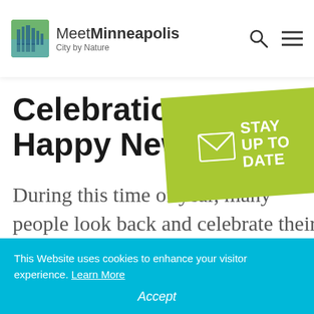Meet Minneapolis — City by Nature
Celebration and Happy New Year
[Figure (infographic): Green tilted badge with envelope icon and text STAY UP TO DATE]
During this time of year, many people look back and celebrate their accomplishments before
This Website uses cookies to enhance your visitor experience. Learn More
Accept